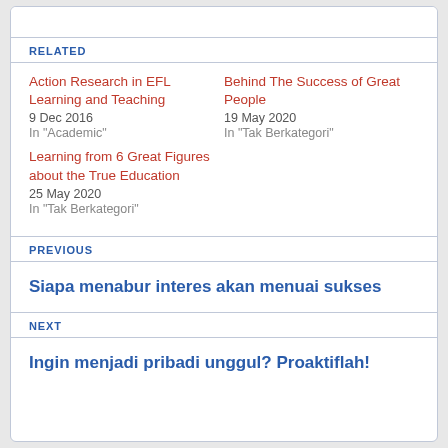RELATED
Action Research in EFL Learning and Teaching
9 Dec 2016
In "Academic"
Behind The Success of Great People
19 May 2020
In "Tak Berkategori"
Learning from 6 Great Figures about the True Education
25 May 2020
In "Tak Berkategori"
PREVIOUS
Siapa menabur interes akan menuai sukses
NEXT
Ingin menjadi pribadi unggul? Proaktiflah!